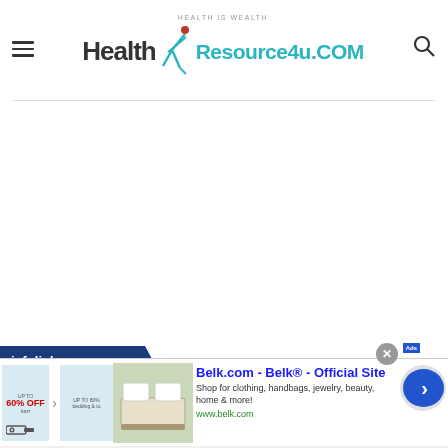[Figure (logo): Health Resource4u.COM logo with runner silhouette and tagline 'HEALTH IS WEALTH']
[Figure (screenshot): Advertisement banner: Belk.com - Belk Official Site. 'Shop for clothing, handbags, jewelry, beauty, home & more!' www.belk.com, with infolinks label, close button, and navigation arrow.]